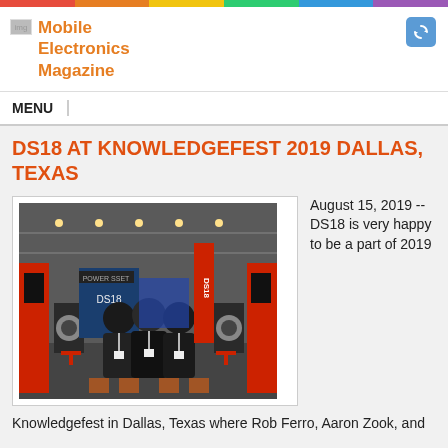Mobile Electronics Magazine
DS18 AT KNOWLEDGEFEST 2019 DALLAS, TEXAS
[Figure (photo): Three men posing at the DS18 booth at Knowledgefest 2019 in Dallas, Texas. The booth features red and black audio equipment, large speakers on stands, and orange bar stools. A large convention hall is visible in the background with various other exhibitor booths.]
August 15, 2019 -- DS18 is very happy to be a part of 2019
Knowledgefest in Dallas, Texas where Rob Ferro, Aaron Zook, and